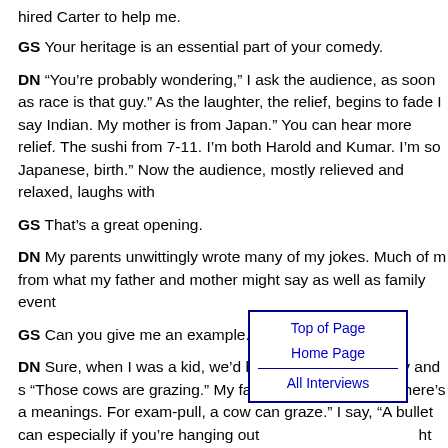hired Carter to help me.
GS Your heritage is an essential part of your comedy.
DN “You’re probably wondering,” I ask the audience, as soon as race is that guy.” As the laughter, the relief, begins to fade I say Indian. My mother is from Japan.” You can hear more relief. The sushi from 7-11. I’m both Harold and Kumar. I’m so Japanese, birth.” Now the audience, mostly relieved and relaxed, laughs with
GS That’s a great opening.
DN My parents unwittingly wrote many of my jokes. Much of m from what my father and mother might say as well as family event
GS Can you give me an example.
DN Sure, when I was a kid, we’d be driving in the country and s “Those cows are grazing.” My father would say, “Now there’s a meanings. For exam-pull, a cow can graze.” I say, “A bullet can especially if you’re hanging out [nav box] ht Cheney.” My a donut.”
I told that joke for five thousand [nav box] ryone got it. The joke for and audience of five tho [nav box] no one got it. S to me, after the show, “You funny, Mr Daniel-son, but we no u donut’ joke.” I say, “Well, it’s the ‘l’ and the ‘r.’” “No, prease exprain